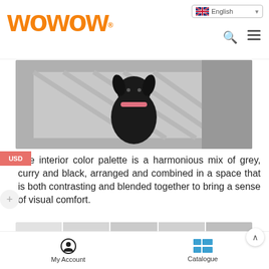WOWOW® — English language selector, search icon, menu icon
[Figure (photo): Black dog with pink collar sitting on a patterned grey rug/carpet, photographed from above]
The interior color palette is a harmonious mix of grey, curry and black, arranged and combined in a space that is both contrasting and blended together to bring a sense of visual comfort.
[Figure (photo): Bottom partial view of colour swatches or interior panels in shades of grey and white]
My Account   Catalogue